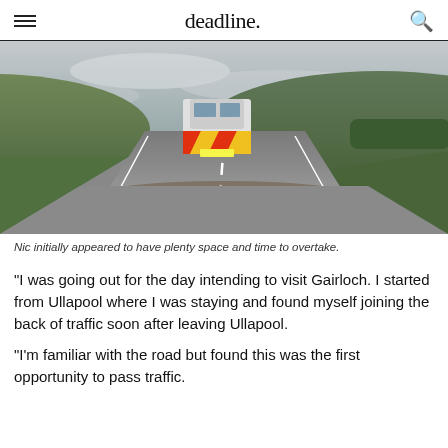deadline.
[Figure (photo): Dashcam view from a vehicle on a single-carriageway road in a Scottish highland setting, with a yellow and red chevron-marked police/emergency van ahead, green hills on both sides, overcast sky, and the vehicle's tan dashboard visible at the bottom.]
Nic initially appeared to have plenty space and time to overtake.
“I was going out for the day intending to visit Gairloch. I started from Ullapool where I was staying and found myself joining the back of traffic soon after leaving Ullapool.
“I’m familiar with the road but found this was the first opportunity to pass traffic.